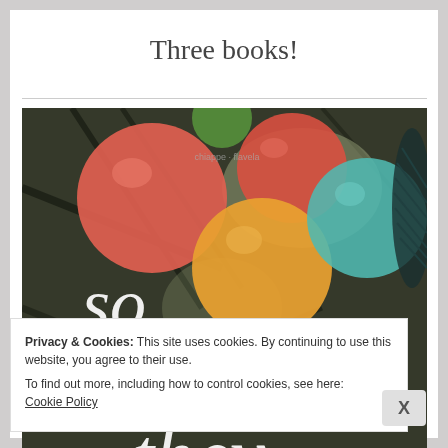Three books!
[Figure (photo): Book cover showing colorful balloons (red, orange, yellow, teal) against tree branches with text overlay reading 'so glad they']
Privacy & Cookies: This site uses cookies. By continuing to use this website, you agree to their use.
To find out more, including how to control cookies, see here: Cookie Policy